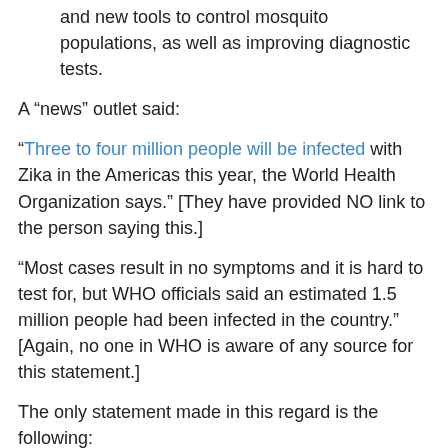and new tools to control mosquito populations, as well as improving diagnostic tests.
A “news” outlet said:
“Three to four million people will be infected with Zika in the Americas this year, the World Health Organization says.” [They have provided NO link to the person saying this.]
“Most cases result in no symptoms and it is hard to test for, but WHO officials said an estimated 1.5 million people had been infected in the country.” [Again, no one in WHO is aware of any source for this statement.]
The only statement made in this regard is the following:
FIRE-EARTH Models show more than one million occurrences of ZIKA infections on the ground